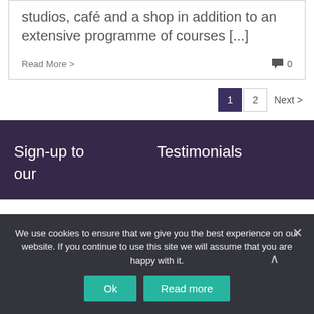studios, café and a shop in addition to an extensive programme of courses [...]
Read More >   🗨0
1  2  Next >
Sign-up to our
Testimonials
We use cookies to ensure that we give you the best experience on our website. If you continue to use this site we will assume that you are happy with it.
Ok   Read more